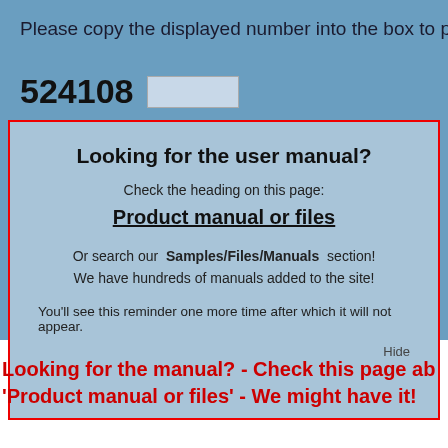Please copy the displayed number into the box to po
524108
Looking for the user manual?
Check the heading on this page:
Product manual or files
Or search our Samples/Files/Manuals section! We have hundreds of manuals added to the site!
You'll see this reminder one more time after which it will not appear.
Hide
Looking for the manual? - Check this page ab 'Product manual or files' - We might have it!